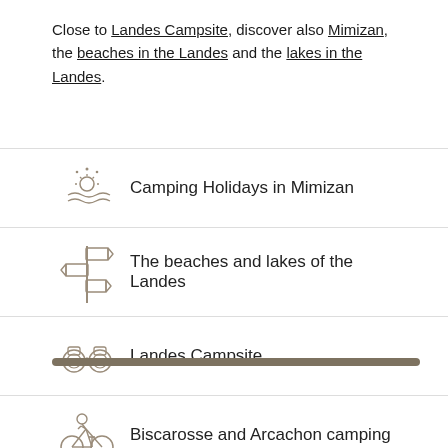Close to Landes Campsite, discover also Mimizan, the beaches in the Landes and the lakes in the Landes.
Camping Holidays in Mimizan
The beaches and lakes of the Landes
Landes Campsite
Biscarosse and Arcachon camping